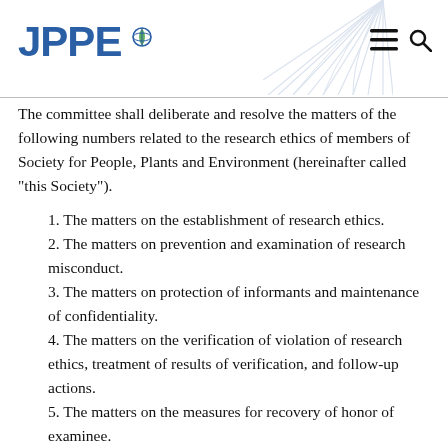JPPE
The committee shall deliberate and resolve the matters of the following numbers related to the research ethics of members of Society for People, Plants and Environment (hereinafter called “this Society”).
1. The matters on the establishment of research ethics.
2. The matters on prevention and examination of research misconduct.
3. The matters on protection of informants and maintenance of confidentiality.
4. The matters on the verification of violation of research ethics, treatment of results of verification, and follow-up actions.
5. The matters on the measures for recovery of honor of examinee.
6. Other matters that the chairman of committee refers to.
Article 12 (Composition)
1. The committee shall be composed of 5 or more people including the editing executive director.